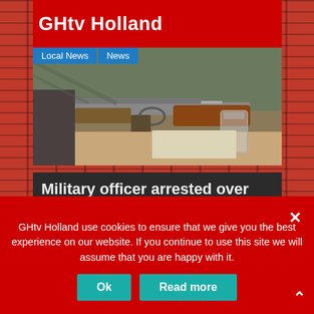GHtv Holland
[Figure (photo): Close-up photograph of a rifle/assault weapon with wooden stock on a table, with a glass visible in the background]
Local News   News
Military officer arrested over A&C Mall New Year shooting ( video )
GHtv Holland use cookies to ensure that we give you the best experience on our website. If you continue to use this site we will assume that you are happy with it.